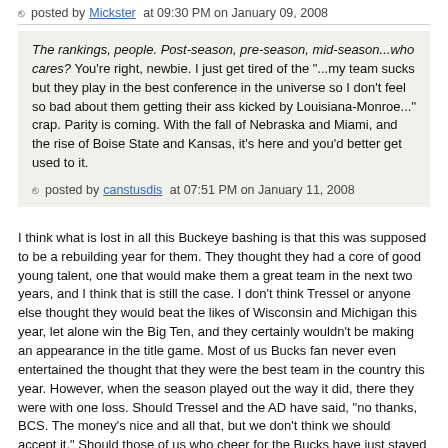posted by Mickster at 09:30 PM on January 09, 2008
The rankings, people. Post-season, pre-season, mid-season...who cares? You're right, newbie. I just get tired of the "...my team sucks but they play in the best conference in the universe so I don't feel so bad about them getting their ass kicked by Louisiana-Monroe..." crap. Parity is coming. With the fall of Nebraska and Miami, and the rise of Boise State and Kansas, it's here and you'd better get used to it.
posted by canstusdis at 07:51 PM on January 11, 2008
I think what is lost in all this Buckeye bashing is that this was supposed to be a rebuilding year for them. They thought they had a core of good young talent, one that would make them a great team in the next two years, and I think that is still the case. I don't think Tressel or anyone else thought they would beat the likes of Wisconsin and Michigan this year, let alone win the Big Ten, and they certainly wouldn't be making an appearance in the title game. Most of us Bucks fan never even entertained the thought that they were the best team in the country this year. However, when the season played out the way it did, there they were with one loss. Should Tressel and the AD have said, "no thanks, BCS. The money's nice and all that, but we don't think we should accept it." Should those of us who cheer for the Bucks have just stayed home and played with ourselves, rather than support the team? Yes, this year and probably for the past few, the SEC is the best